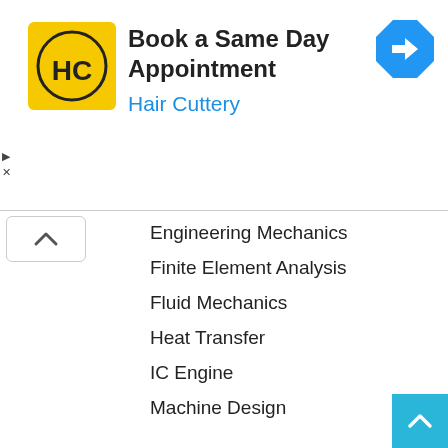[Figure (other): Advertisement banner for Hair Cuttery with logo, text 'Book a Same Day Appointment', 'Hair Cuttery', and a blue navigation arrow icon. Small play and close controls on the left.]
Engineering Mechanics
Finite Element Analysis
Fluid Mechanics
Heat Transfer
IC Engine
Machine Design
Material Science
Mechanical MCQs
Metrology and Quality Control
Operation Research
Power Plant Engineering
Production Process